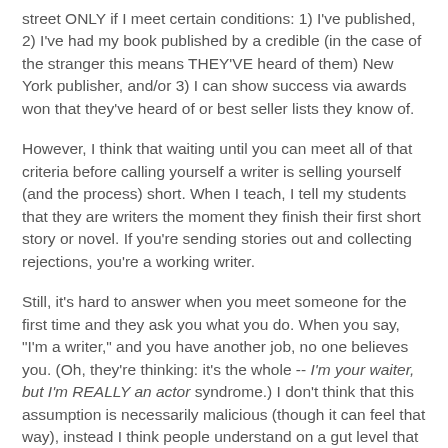street ONLY if I meet certain conditions: 1) I've published, 2) I've had my book published by a credible (in the case of the stranger this means THEY'VE heard of them) New York publisher, and/or 3) I can show success via awards won that they've heard of or best seller lists they know of.
However, I think that waiting until you can meet all of that criteria before calling yourself a writer is selling yourself (and the process) short. When I teach, I tell my students that they are writers the moment they finish their first short story or novel. If you're sending stories out and collecting rejections, you're a working writer.
Still, it's hard to answer when you meet someone for the first time and they ask you what you do. When you say, "I'm a writer," and you have another job, no one believes you. (Oh, they're thinking: it's the whole -- I'm your waiter, but I'm REALLY an actor syndrome.) I don't think that this assumption is necessarily malicious (though it can feel that way), instead I think people understand on a gut level that "making it" in our profession is really difficult. But, because it is so difficult, I think the earlier we embrace the title writer